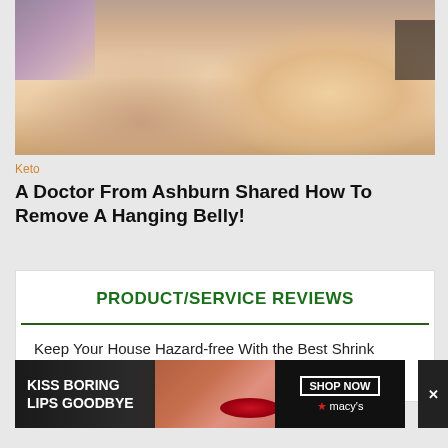[Figure (photo): Close-up photo of a person's large overweight abdomen/belly]
Keto
A Doctor From Ashburn Shared How To Remove A Hanging Belly!
PRODUCT/SERVICE REVIEWS
Keep Your House Hazard-free With the Best Shrink
[Figure (other): Advertisement banner: KISS BORING LIPS GOODBYE with a woman's face showing red lips, SHOP NOW button, Macy's star logo]